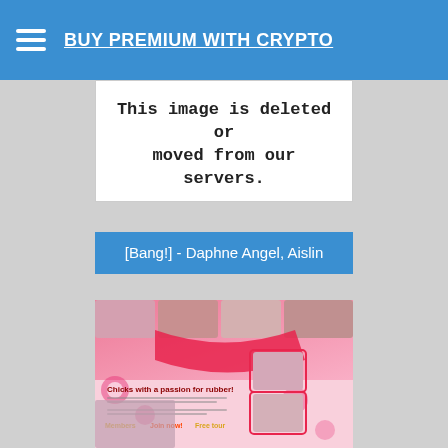BUY PREMIUM WITH CRYPTO
This image is deleted or moved from our servers.
[Bang!] - Daphne Angel, Aislin
[Figure (photo): Adult website promotional banner with pink floral design, thumbnail images, and promotional text including 'Chicks with a passion for rubber!', 'Members', 'Join now!', 'Free tour']